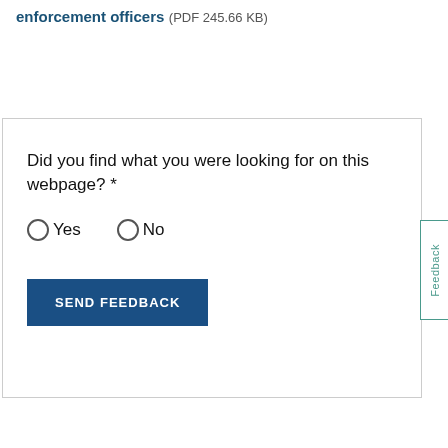enforcement officers (PDF 245.66 KB)
Did you find what you were looking for on this webpage? *
Yes
No
SEND FEEDBACK